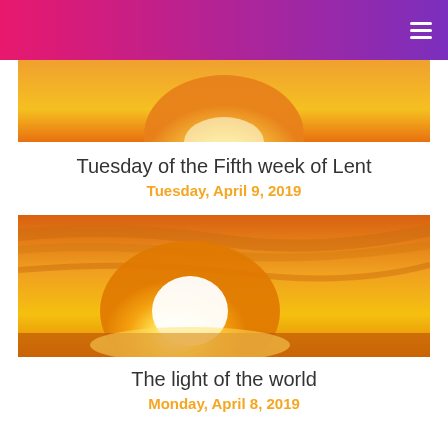[Figure (photo): Partial view of a sunset image showing orange and yellow sky with a bright white glow at center, shown as a narrow horizontal strip at the top of the page content area.]
Tuesday of the Fifth week of Lent
Tuesday, April 9, 2019
[Figure (photo): Golden sunset photograph showing a large glowing white-yellow sun low on the horizon against a vivid orange and amber sky with wispy clouds.]
The light of the world
Monday, April 8, 2019